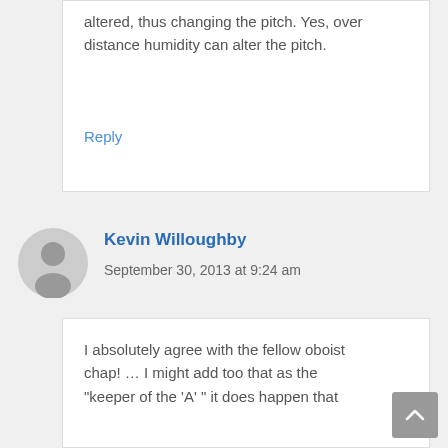altered, thus changing the pitch. Yes, over distance humidity can alter the pitch.
Reply
[Figure (illustration): Gray circular avatar/user icon for commenter Kevin Willoughby]
Kevin Willoughby
September 30, 2013 at 9:24 am
I absolutely agree with the fellow oboist chap! … I might add too that as the "keeper of the 'A' " it does happen that